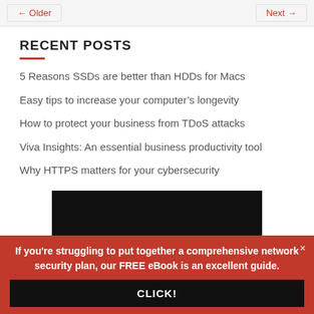← Older    Next →
RECENT POSTS
5 Reasons SSDs are better than HDDs for Macs
Easy tips to increase your computer's longevity
How to protect your business from TDoS attacks
Viva Insights: An essential business productivity tool
Why HTTPS matters for your cybersecurity
[Figure (other): Dark/black image banner]
If you're struggling to put together a comprehensive network security plan, our FREE eBook is an excellent guide.
CLICK!